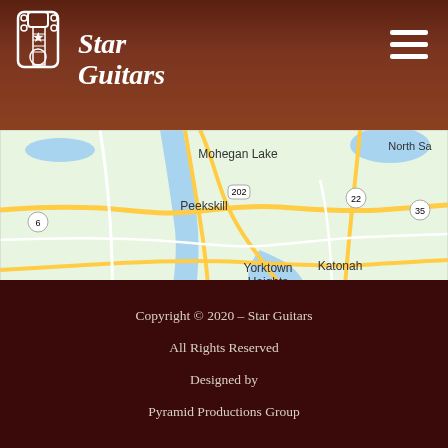Star Guitars
[Figure (map): Google Maps screenshot showing the Hudson River Valley area including Mohegan Lake, Peekskill, Cortlandt, Yorktown Heights, Katonah, Bedford Hills, Mt Kisco, and surrounding areas. Route numbers visible: 6, 202, 9, 22, 35, 134, 133, 121, 172.]
Copyright © 2020 – Star Guitars
All Rights Reserved
Designed by
Pyramid Productions Group